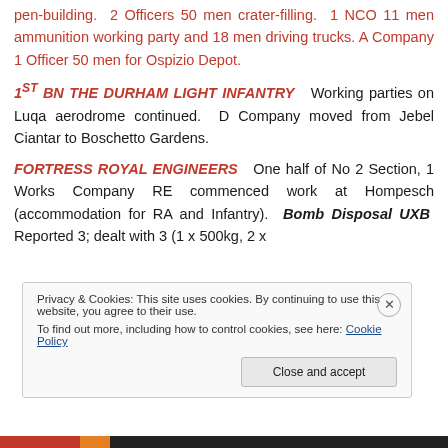pen-building. 2 Officers 50 men crater-filling. 1 NCO 11 men ammunition working party and 18 men driving trucks. A Company 1 Officer 50 men for Ospizio Depot.
1ST BN THE DURHAM LIGHT INFANTRY Working parties on Luqa aerodrome continued. D Company moved from Jebel Ciantar to Boschetto Gardens.
FORTRESS ROYAL ENGINEERS One half of No 2 Section, 1 Works Company RE commenced work at Hompesch (accommodation for RA and Infantry). Bomb Disposal UXB Reported 3; dealt with 3 (1 x 500kg, 2 x
Privacy & Cookies: This site uses cookies. By continuing to use this website, you agree to their use. To find out more, including how to control cookies, see here: Cookie Policy